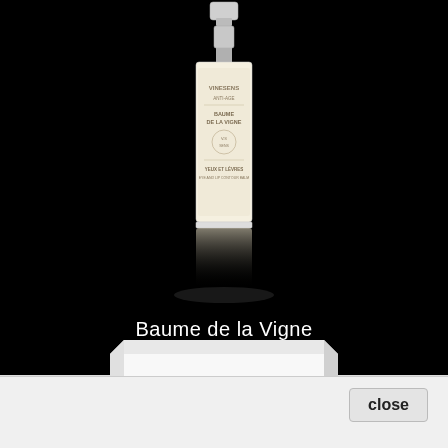[Figure (photo): A cosmetic product bottle (Vinesens Anti-Age Baume de la Vigne eye and lip contour balm) with a silver pump top and cream-colored bottle body with label, shown against a black background with a reflection below it, and a white rectangular plinth/box beneath the bottle.]
Baume de la Vigne
[Figure (screenshot): A white close button with border in the bottom-right of a white panel area at the bottom of the page.]